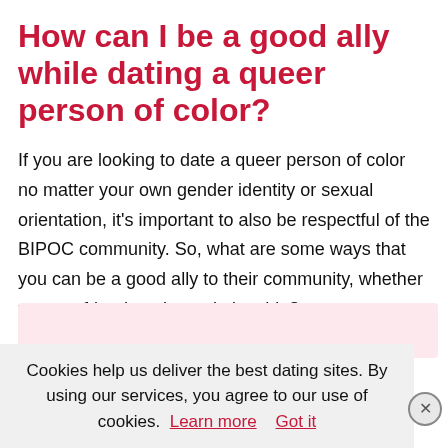How can I be a good ally while dating a queer person of color?
If you are looking to date a queer person of color no matter your own gender identity or sexual orientation, it’s important to also be respectful of the BIPOC community. So, what are some ways that you can be a good ally to their community, whether you are friends or in a relationship?
Cookies help us deliver the best dating sites. By using our services, you agree to our use of cookies. Learn more  Got it